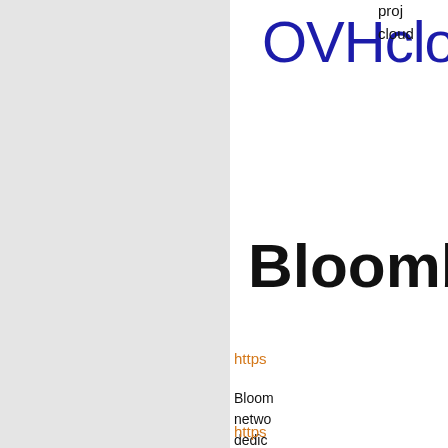[Figure (logo): OVHcloud logo in dark blue text]
proj
cloud
[Figure (logo): Bloomberg logo in bold black text]
https
Bloom
netwo
dedic
Bloom
world
https